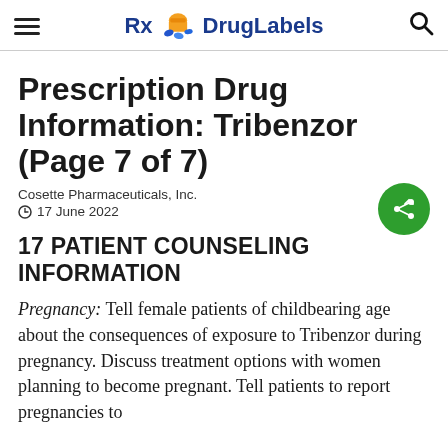Rx DrugLabels
Prescription Drug Information: Tribenzor (Page 7 of 7)
Cosette Pharmaceuticals, Inc.
17 June 2022
17 PATIENT COUNSELING INFORMATION
Pregnancy: Tell female patients of childbearing age about the consequences of exposure to Tribenzor during pregnancy. Discuss treatment options with women planning to become pregnant. Tell patients to report pregnancies to